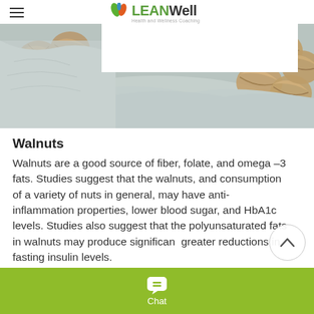LEANWell Health and Wellness Coaching
[Figure (photo): A burlap sack overflowing with whole walnuts, photographed from above, showing the rough textured shells in shades of brown and grey.]
Walnuts
Walnuts are a good source of fiber, folate, and omega –3 fats. Studies suggest that the walnuts, and consumption of a variety of nuts in general, may have anti-inflammation properties, lower blood sugar, and HbA1c levels. Studies also suggest that the polyunsaturated fats in walnuts may produce significant greater reductions in fasting insulin levels.
Chat